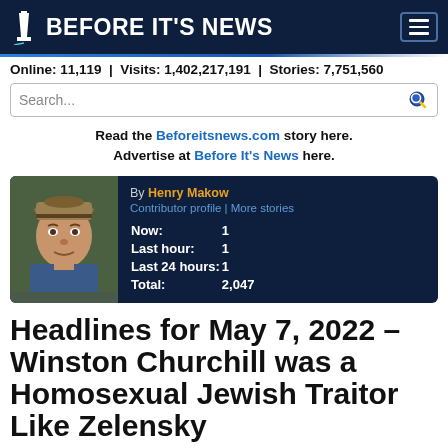BEFORE IT'S NEWS
Online: 11,119 | Visits: 1,402,217,191 | Stories: 7,751,560
Read the Beforeitsnews.com story here. Advertise at Before It's News here.
[Figure (infographic): Author profile card for Henry Makow showing photo, contributor profile link, and story counts: Now: 1, Last hour: 1, Last 24 hours: 1, Total: 2,047]
Headlines for May 7, 2022 – Winston Churchill was a Homosexual Jewish Traitor Like Zelensky